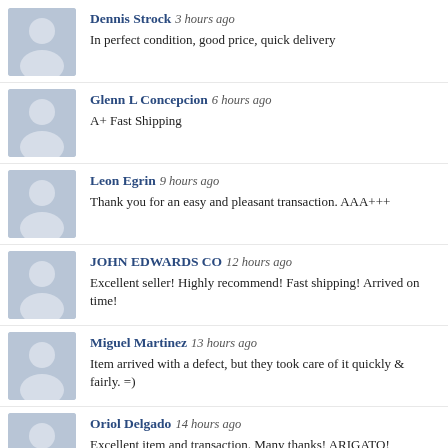Dennis Strock 3 hours ago
In perfect condition, good price, quick delivery
Glenn L Concepcion 6 hours ago
A+ Fast Shipping
Leon Egrin 9 hours ago
Thank you for an easy and pleasant transaction. AAA+++
JOHN EDWARDS CO 12 hours ago
Excellent seller! Highly recommend! Fast shipping! Arrived on time!
Miguel Martinez 13 hours ago
Item arrived with a defect, but they took care of it quickly & fairly. =)
Oriol Delgado 14 hours ago
Excellent item and transaction. Many thanks! ARIGATO!
Thomas Pfeiffer 16 hours ago
item as described, quick ship, good seller, will deal with again, A+++++